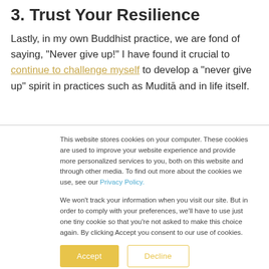3. Trust Your Resilience
Lastly, in my own Buddhist practice, we are fond of saying, "Never give up!" I have found it crucial to continue to challenge myself to develop a "never give up" spirit in practices such as Mudita and in life itself.
This website stores cookies on your computer. These cookies are used to improve your website experience and provide more personalized services to you, both on this website and through other media. To find out more about the cookies we use, see our Privacy Policy.
We won't track your information when you visit our site. But in order to comply with your preferences, we'll have to use just one tiny cookie so that you're not asked to make this choice again. By clicking Accept you consent to our use of cookies.